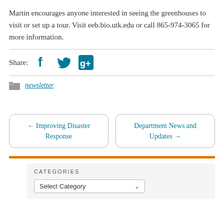Martin encourages anyone interested in seeing the greenhouses to visit or set up a tour. Visit eeb.bio.utk.edu or call 865-974-3065 for more information.
Share:
newsletter
← Improving Disaster Response
Department News and Updates →
CATEGORIES
Select Category